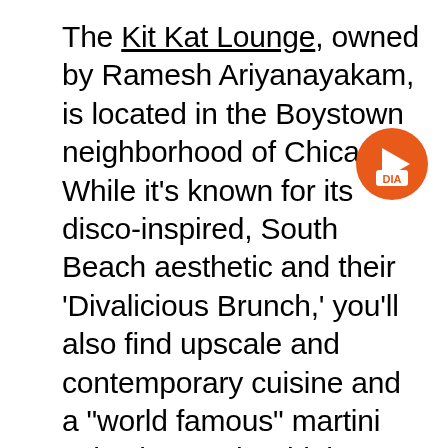The Kit Kat Lounge, owned by Ramesh Ariyanayakam, is located in the Boystown neighborhood of Chicago. While it's known for its disco-inspired, South Beach aesthetic and their 'Divalicious Brunch,' you'll also find upscale and contemporary cuisine and a "world famous" martini selection on the drink menu. From the ambiance, to the music, to the performances, this will be a brunch that you'll never forget.
[Figure (logo): Orange circular badge with a white play button triangle and the text 'DIA' in orange on white background]